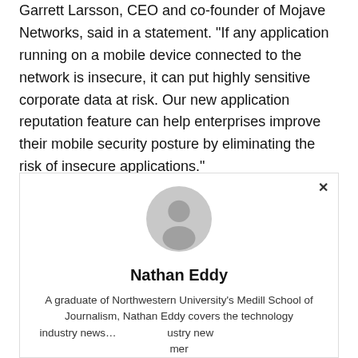Garrett Larsson, CEO and co-founder of Mojave Networks, said in a statement. "If any application running on a mobile device connected to the network is insecure, it can put highly sensitive corporate data at risk. Our new application reputation feature can help enterprises improve their mobile security posture by eliminating the risk of insecure applications."
[Figure (illustration): Generic user avatar placeholder icon — grey circle with person silhouette]
Nathan Eddy
A graduate of Northwestern University's Medill School of Journalism, Nathan Eddy covers the technology industry news...